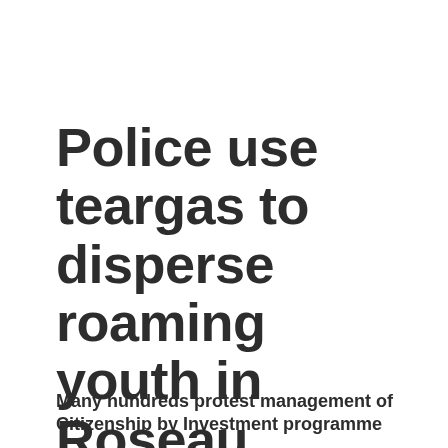Police use teargas to disperse roaming youth in Roseau tonight
Many hundreds protest management of Citizenship by Investment programme